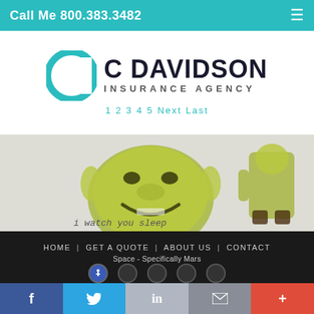Call Me 800.383.3482
[Figure (logo): C Davidson Insurance Agency logo with teal circular C icon and bold text]
1 2 3 4 5 Next Last
[Figure (photo): Two Shrek character images side by side with caption 'i watch you sleep']
HOME | GET A QUOTE | ABOUT US | CONTACT
Space - Specifically Mars
P: 800.383.3482 | F: 800.687.5454